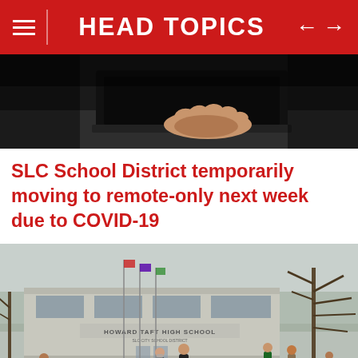HEAD TOPICS
[Figure (photo): Close-up of a hand touching a dark laptop or tablet, dark blurred background]
SLC School District temporarily moving to remote-only next week due to COVID-19
[Figure (photo): Exterior of Howard Taft High School in winter, students walking outside in front of the building, bare trees, snow on ground, flags visible]